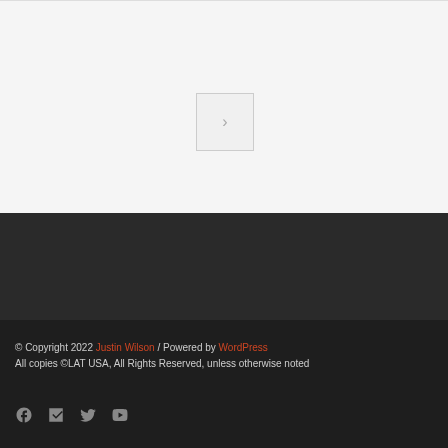[Figure (other): Navigation arrow button — a small square box with a right-pointing chevron arrow in gray on a light gray background]
© Copyright 2022 Justin Wilson / Powered by WordPress
All copies ©LAT USA, All Rights Reserved, unless otherwise noted